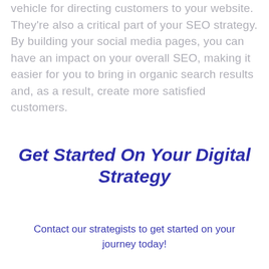vehicle for directing customers to your website. They're also a critical part of your SEO strategy. By building your social media pages, you can have an impact on your overall SEO, making it easier for you to bring in organic search results and, as a result, create more satisfied customers.
Get Started On Your Digital Strategy
Contact our strategists to get started on your journey today!